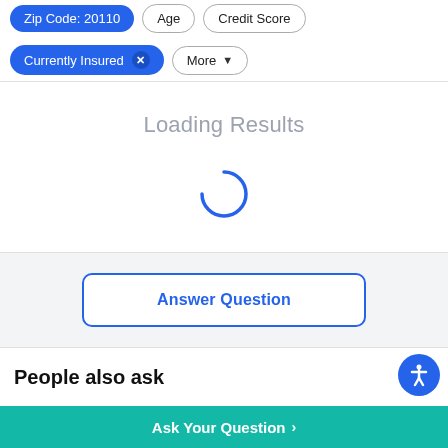[Figure (screenshot): Partial top row of filter chips: 'Zip Code: 20110' (blue filled), 'Age' (outline), 'Credit Score' (outline)]
[Figure (screenshot): Second row of filter chips: 'Currently Insured' with X button (blue filled), 'More' with dropdown arrow (outline)]
Loading Results
[Figure (other): Blue circular loading spinner (partial arc)]
[Figure (screenshot): Answer Question button with blue border on light gray background]
People also ask
[Figure (other): Blue circular accessibility icon button]
Ask Your Question >